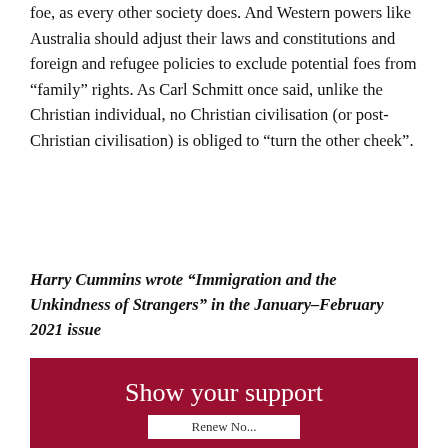foe, as every other society does. And Western powers like Australia should adjust their laws and constitutions and foreign and refugee policies to exclude potential foes from “family” rights. As Carl Schmitt once said, unlike the Christian individual, no Christian civilisation (or post-Christian civilisation) is obliged to “turn the other cheek”.
Harry Cummins wrote “Immigration and the Unkindness of Strangers” in the January–February 2021 issue
Show your support